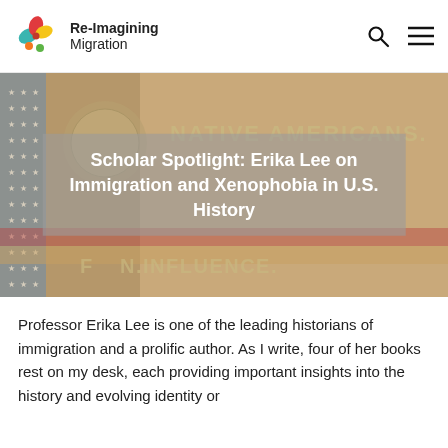Re-Imagining Migration
[Figure (photo): Historical image showing an American flag with text overlays reading 'NATIVE AMERICANS' and 'FOREIGN INFLUENCE', with a semi-transparent gray overlay box containing the article title.]
Scholar Spotlight: Erika Lee on Immigration and Xenophobia in U.S. History
Professor Erika Lee is one of the leading historians of immigration and a prolific author. As I write, four of her books rest on my desk, each providing important insights into the history and evolving identity or